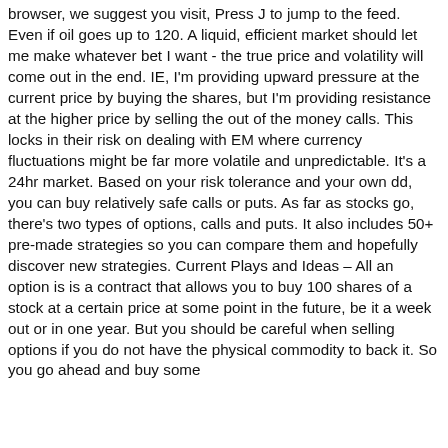browser, we suggest you visit, Press J to jump to the feed. Even if oil goes up to 120. A liquid, efficient market should let me make whatever bet I want - the true price and volatility will come out in the end. IE, I'm providing upward pressure at the current price by buying the shares, but I'm providing resistance at the higher price by selling the out of the money calls. This locks in their risk on dealing with EM where currency fluctuations might be far more volatile and unpredictable. It's a 24hr market. Based on your risk tolerance and your own dd, you can buy relatively safe calls or puts. As far as stocks go, there's two types of options, calls and puts. It also includes 50+ pre-made strategies so you can compare them and hopefully discover new strategies. Current Plays and Ideas – All an option is is a contract that allows you to buy 100 shares of a stock at a certain price at some point in the future, be it a week out or in one year. But you should be careful when selling options if you do not have the physical commodity to back it. So you go ahead and buy some